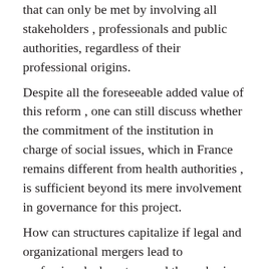that can only be met by involving all stakeholders , professionals and public authorities, regardless of their professional origins.
Despite all the foreseeable added value of this reform , one can still discuss whether the commitment of the institution in charge of social issues, which in France remains different from health authorities , is sufficient beyond its mere involvement in governance for this project.
How can structures capitalize if legal and organizational mergers lead to professionals departure and thus a brain drain and loss of frontline skills?
Is there a risk that a single entry point may result in an unmanageable influx of requests ?
Will being essentially an assistance to health